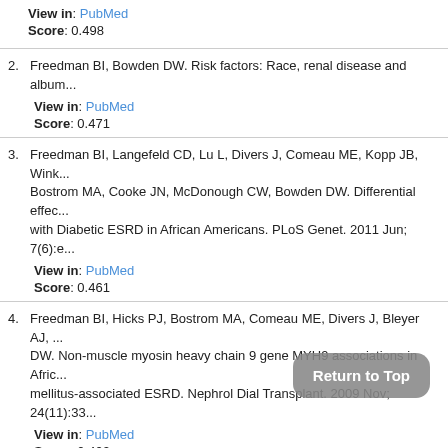View in: PubMed
Score: 0.498
2. Freedman BI, Bowden DW. Risk factors: Race, renal disease and album...
View in: PubMed
Score: 0.471
3. Freedman BI, Langefeld CD, Lu L, Divers J, Comeau ME, Kopp JB, Wink..., Bostrom MA, Cooke JN, McDonough CW, Bowden DW. Differential effec... with Diabetic ESRD in African Americans. PLoS Genet. 2011 Jun; 7(6):e...
View in: PubMed
Score: 0.461
4. Freedman BI, Hicks PJ, Bostrom MA, Comeau ME, Divers J, Bleyer AJ, ... DW. Non-muscle myosin heavy chain 9 gene MYH9 associations in Afric... mellitus-associated ESRD. Nephrol Dial Transplant. 2009 Nov; 24(11):33...
View in: PubMed
Score: 0.402
5. Freedman BI, Hicks PJ, Bostrom MA, Cunningha..., rs J, H... DW. Polymorphisms in the non-muscle myosin h... (MYH... historically attributed to hypertension in African Americans. Kidney Int. 20...
View in: PubMed